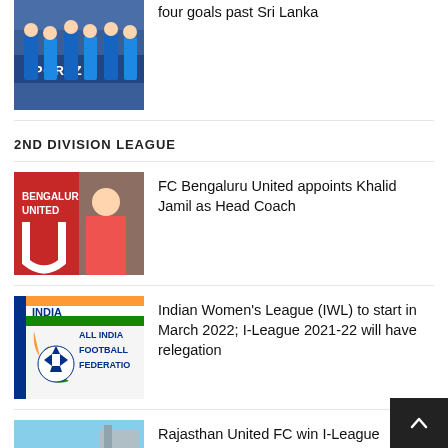[Figure (photo): Football players in blue jerseys with SPORTZ text banner in background]
four goals past Sri Lanka
2ND DIVISION LEAGUE
[Figure (photo): FC Bengaluru United logo and person at press conference table]
FC Bengaluru United appoints Khalid Jamil as Head Coach
[Figure (logo): All India Football Federation logo with Indian tricolor design]
Indian Women’s League (IWL) to start in March 2022; I-League 2021-22 will have relegation
[Figure (photo): Rajasthan United FC team celebration photo on a pitch]
Rajasthan United FC win I-League Qualifiers 2021 and promotion to the I-League
[Figure (photo): Kenkre FC related photo, partially visible at bottom]
I-League Qualifiers 2021: Kenkre FC